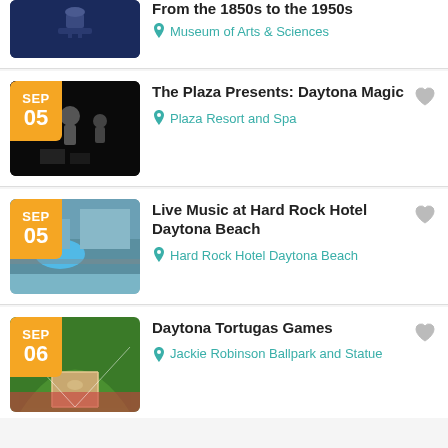From the 1850s to the 1950s — Museum of Arts & Sciences
SEP 05 — The Plaza Presents: Daytona Magic — Plaza Resort and Spa
SEP 05 — Live Music at Hard Rock Hotel Daytona Beach — Hard Rock Hotel Daytona Beach
SEP 06 — Daytona Tortugas Games — Jackie Robinson Ballpark and Statue